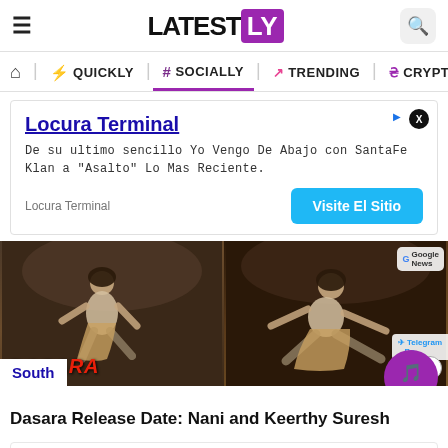LATESTLY
QUICKLY | # SOCIALLY | TRENDING | CRYPTO
[Figure (screenshot): Advertisement for Locura Terminal with text 'De su ultimo sencillo Yo Vengo De Abajo con SantaFe Klan a "Asalto" Lo Mas Reciente.' and a 'Visite El Sitio' button]
[Figure (photo): Two panel image of actor Nani from the Telugu movie Dasara. Left panel shows a movie poster with 'DASARA' text in red. Right panel shows a similar pose. South tag visible. LatestLY FAB button visible.]
South
Dasara Release Date: Nani and Keerthy Suresh
[Figure (screenshot): Advertisement for Lidl with text 'Suspiciously Low Prices' and 'Lidl' in blue with Lidl logo and blue arrow icon.]